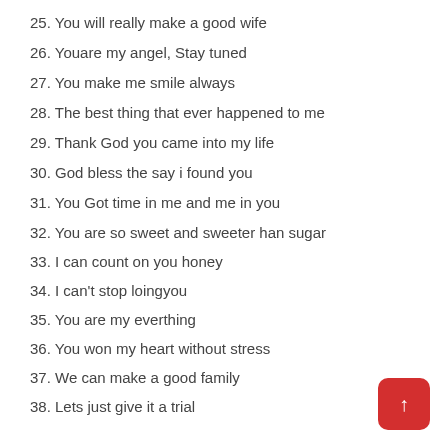25. You will really make a good wife
26. Youare my angel, Stay tuned
27. You make me smile always
28. The best thing that ever happened to me
29. Thank God you came into my life
30. God bless the say i found you
31. You Got time in me and me in you
32. You are so sweet and sweeter han sugar
33. I can count on you honey
34. I can't stop loingyou
35. You are my everthing
36. You won my heart without stress
37. We can make a good family
38. Lets just give it a trial